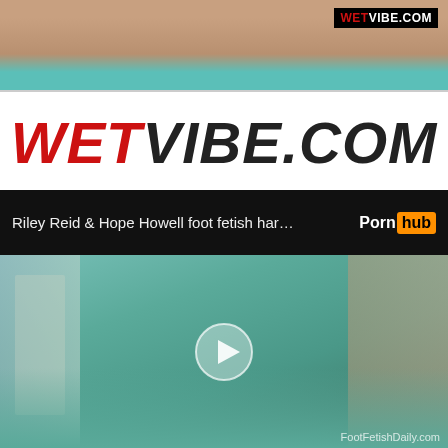[Figure (screenshot): Top portion showing skin-toned background with teal/aqua colored fabric]
WETVIBE.COM
WETVIBE.COM
Riley Reid & Hope Howell foot fetish har…
[Figure (screenshot): Video thumbnail showing three people on a teal/turquoise bed with a play button overlay. Watermark reads FootFetishDaily.com]